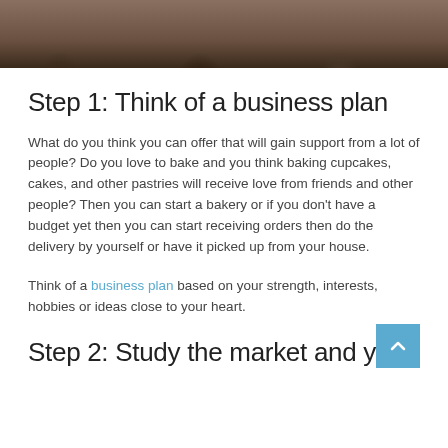[Figure (photo): Partial photo of people at the top of the page, cropped to show heads and upper bodies against a blurred background.]
Step 1: Think of a business plan
What do you think you can offer that will gain support from a lot of people? Do you love to bake and you think baking cupcakes, cakes, and other pastries will receive love from friends and other people? Then you can start a bakery or if you don't have a budget yet then you can start receiving orders then do the delivery by yourself or have it picked up from your house.
Think of a business plan based on your strength, interests, hobbies or ideas close to your heart.
Step 2: Study the market and your